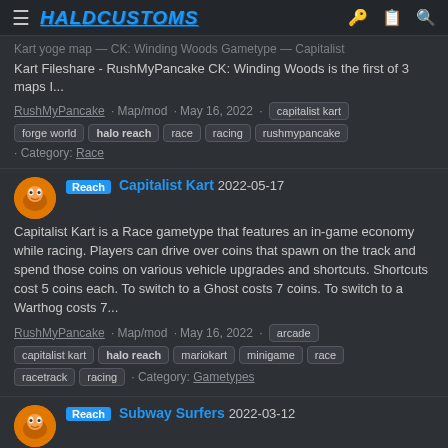HaldCustoms
Kart Fileshare - RushMyPancake CK: Winding Woods is the first of 3 maps I...
RushMyPancake · Map/mod · May 16, 2022 · capitalist kart | forge world | halo reach | race | racing | rushmypancake · Category: Race
Reach Capitalist Kart 2022-05-17
Capitalist Kart is a Race gametype that features an in-game economy while racing. Players can drive over coins that spawn on the track and spend those coins on various vehicle upgrades and shortcuts. Shortcuts cost 5 coins each. To switch to a Ghost costs 7 coins. To switch to a Warthog costs 7...
RushMyPancake · Map/mod · May 16, 2022 · arcade | capitalist kart | halo reach | mariokart | minigame | race | racetrack | racing · Category: Gametypes
Reach Subway Surfers 2022-03-12
Map: Subway Surfers Gamemode: Subway Surfers Gamertag: